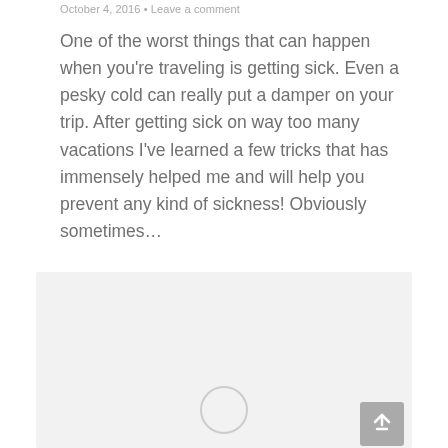October 4, 2016 • Leave a comment
One of the worst things that can happen when you're traveling is getting sick. Even a pesky cold can really put a damper on your trip. After getting sick on way too many vacations I've learned a few tricks that has immensely helped me and will help you prevent any kind of sickness! Obviously sometimes…
[Figure (other): Light grey placeholder image area with a circular spinner/loading indicator in the lower center, and a scroll-to-top button in the bottom right corner.]